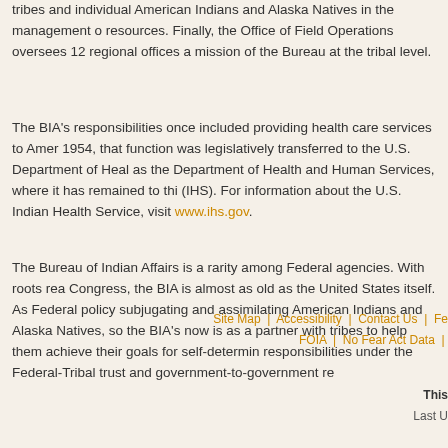tribes and individual American Indians and Alaska Natives in the management of their resources. Finally, the Office of Field Operations oversees 12 regional offices and carries out the mission of the Bureau at the tribal level.
The BIA's responsibilities once included providing health care services to American Indians. In 1954, that function was legislatively transferred to the U.S. Department of Health, Education and Welfare, now known as the Department of Health and Human Services, where it has remained to this day as the Indian Health Service (IHS). For information about the U.S. Indian Health Service, visit www.ihs.gov.
The Bureau of Indian Affairs is a rarity among Federal agencies. With roots reaching back to the first Congress, the BIA is almost as old as the United States itself. As Federal policy evolved from subjugating and assimilating American Indians and Alaska Natives, so the BIA's mission changed. The BIA now is as a partner with tribes to help them achieve their goals for self-determination, while fulfilling responsibilities under the Federal-Tribal trust and government-to-government relationship.
Site Map | Accessibility | Contact Us | Fe... FOIA | No Fear Act Data | ...
This ... Last U...